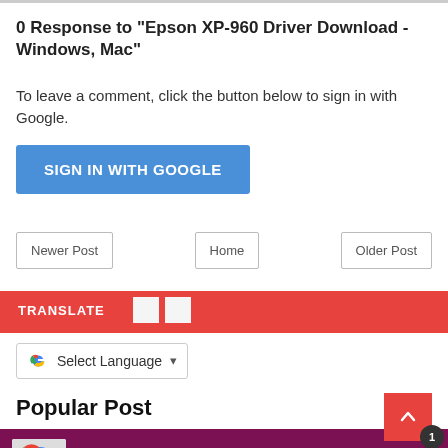0 Response to "Epson XP-960 Driver Download - Windows, Mac"
To leave a comment, click the button below to sign in with Google.
[Figure (screenshot): SIGN IN WITH GOOGLE button (blue button)]
[Figure (screenshot): Navigation row with Newer Post, Home, and Older Post buttons]
[Figure (screenshot): TRANSLATE widget bar with red background and language selector]
Popular Post
[Figure (screenshot): Popular Post item: Google Chrome Offline Installer Download with thumbnail and scroll-to-top button]